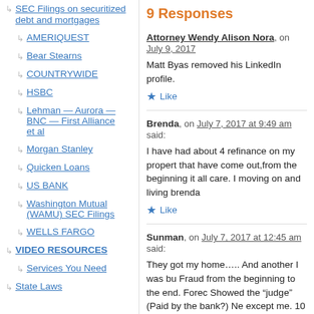SEC Filings on securitized debt and mortgages
AMERIQUEST
Bear Stearns
COUNTRYWIDE
HSBC
Lehman — Aurora — BNC — First Alliance et al
Morgan Stanley
Quicken Loans
US BANK
Washington Mutual (WAMU) SEC Filings
WELLS FARGO
VIDEO RESOURCES
Services You Need
State Laws
9 Responses
Attorney Wendy Alison Nora, on July 9, 2017
Matt Byas removed his LinkedIn profile.
Like
Brenda, on July 7, 2017 at 9:49 am said:
I have had about 4 refinance on my property that have come out,from the beginning it all care. I moving on and living brenda
Like
Sunman, on July 7, 2017 at 12:45 am said:
They got my home….. And another I was bu Fraud from the beginning to the end. Forec Showed the "judge" (Paid by the bank?) Ne except me. 10 days to vacate my home of 3 years for them to assign my loan to the "Tru trust….And… So much for 90 day rule.
Like